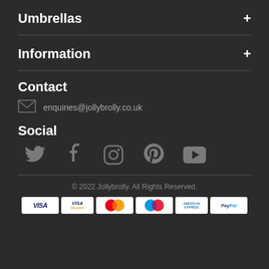Umbrellas
Information
Contact
enquiries@jollybrolly.co.uk
Social
[Figure (infographic): Social media icons: Twitter, Facebook, Instagram, Pinterest, YouTube]
© 2022 Jollybrolly. All Rights Reserved.
[Figure (infographic): Payment method logos: VISA, VISA Electron, Mastercard, Maestro, American Express, PayPal]